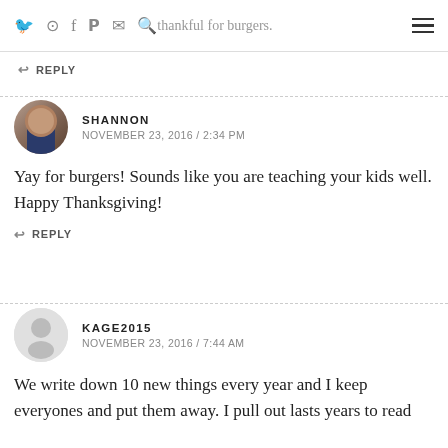thankful for burgers.
↩ REPLY
SHANNON
NOVEMBER 23, 2016 / 2:34 PM
Yay for burgers! Sounds like you are teaching your kids well. Happy Thanksgiving!
↩ REPLY
KAGE2015
NOVEMBER 23, 2016 / 7:44 AM
We write down 10 new things every year and I keep everyones and put them away. I pull out lasts years to read